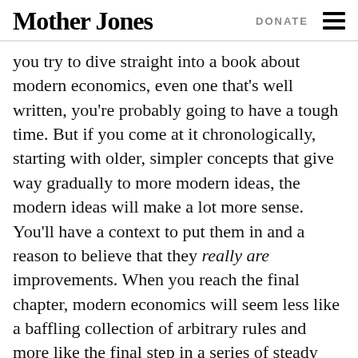Mother Jones  DONATE
you try to dive straight into a book about modern economics, even one that’s well written, you’re probably going to have a tough time. But if you come at it chronologically, starting with older, simpler concepts that give way gradually to more modern ideas, the modern ideas will make a lot more sense. You’ll have a context to put them in and a reason to believe that they really are improvements. When you reach the final chapter, modern economics will seem less like a baffling collection of arbitrary rules and more like the final step in a series of steady progressions that were genuinely motivated by new problems that couldn’t be adequately addressed by what came before. At